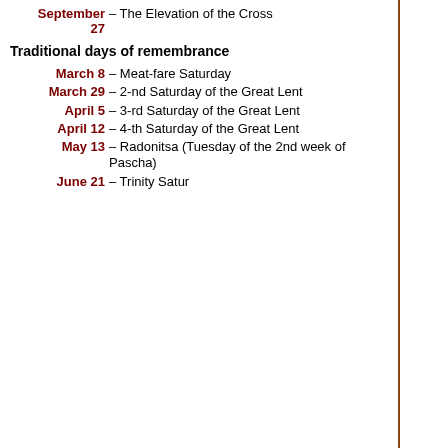September 27 – The Elevation of the Cross
Traditional days of remembrance
March 8 – Meat-fare Saturday
March 29 – 2-nd Saturday of the Great Lent
April 5 – 3-rd Saturday of the Great Lent
April 12 – 4-th Saturday of the Great Lent
May 13 – Radonitsa (Tuesday of the 2nd week of Pascha)
June 21 – Trinity Saturday